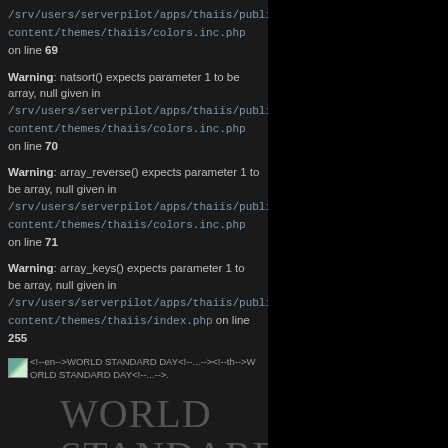/srv/users/serverpilot/apps/thaiis/public/wp-content/themes/thaiis/colors.inc.php on line 69
Warning: natsort() expects parameter 1 to be array, null given in /srv/users/serverpilot/apps/thaiis/public/wp-content/themes/thaiis/colors.inc.php on line 70
Warning: array_reverse() expects parameter 1 to be array, null given in /srv/users/serverpilot/apps/thaiis/public/wp-content/themes/thaiis/colors.inc.php on line 71
Warning: array_keys() expects parameter 1 to be array, null given in /srv/users/serverpilot/apps/thaiis/public/wp-content/themes/thaiis/index.php on line 255
[Figure (other): Small broken image icon followed by HTML comment text: <!--en-->WORLD STANDARD DAY<!--...--><!--th-->WORLD STANDARD DAY<!--...-->]
WORLD STANDARD DAYWORLD STANDARD DAY